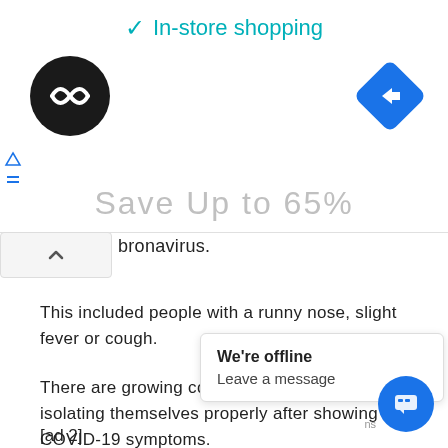[Figure (screenshot): Ad banner showing In-store shopping checkmark, a black circle logo with arrow icon, a blue diamond navigation icon, and 'Save Up to 65%' text in grey]
bronavirus.
This included people with a runny nose, slight fever or cough.
There are growing concerns some people aren't isolating themselves properly after showing COVID-19 symptoms.
The country's peak medical body says any confusion people have about how to respond could be cleared up by having Professor Murphy take the lead on information about t[truncated]
[ad 2]
[Figure (screenshot): Chat widget popup saying 'We're offline - Leave a message' with blue circular chat button]